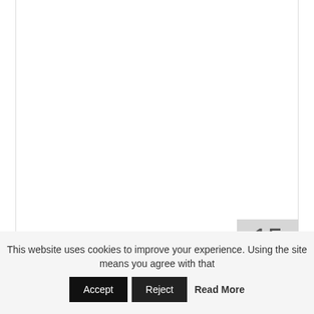[Figure (other): White blank content area representing a document page interior with light borders]
15
The Nuzzy Luvs are
This website uses cookies to improve your experience. Using the site means you agree with that  Accept  Reject  Read More